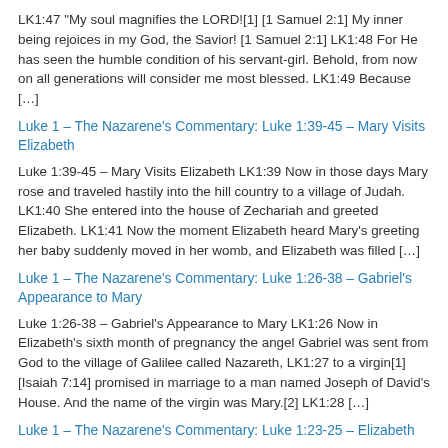LK1:47 “My soul magnifies the LORD![1] [1 Samuel 2:1] My inner being rejoices in my God, the Savior! [1 Samuel 2:1] LK1:48 For He has seen the humble condition of his servant-girl. Behold, from now on all generations will consider me most blessed. LK1:49 Because […]
Luke 1 – The Nazarene’s Commentary: Luke 1:39-45 – Mary Visits Elizabeth
Luke 1:39-45 – Mary Visits Elizabeth LK1:39 Now in those days Mary rose and traveled hastily into the hill country to a village of Judah. LK1:40 She entered into the house of Zechariah and greeted Elizabeth. LK1:41 Now the moment Elizabeth heard Mary’s greeting her baby suddenly moved in her womb, and Elizabeth was filled […]
Luke 1 – The Nazarene’s Commentary: Luke 1:26-38 – Gabriel’s Appearance to Mary
Luke 1:26-38 – Gabriel’s Appearance to Mary LK1:26 Now in Elizabeth’s sixth month of pregnancy the angel Gabriel was sent from God to the village of Galilee called Nazareth, LK1:27 to a virgin[1] [Isaiah 7:14] promised in marriage to a man named Joseph of David’s House. And the name of the virgin was Mary.[2] LK1:28 […]
Luke 1 – The Nazarene’s Commentary: Luke 1:23-25 – Elizabeth